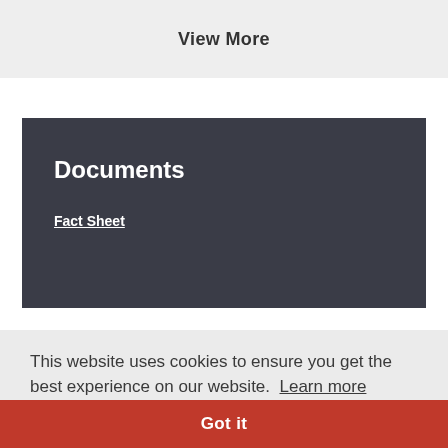View More
Documents
Fact Sheet
This website uses cookies to ensure you get the best experience on our website. Learn more
Got it